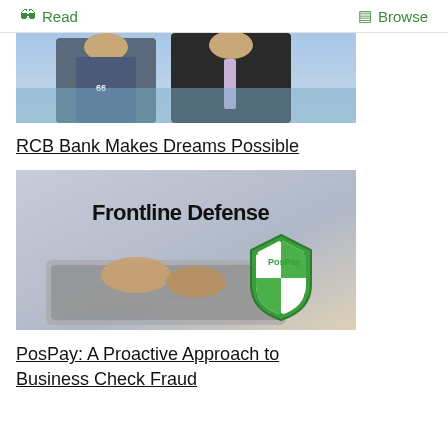Read   Browse
[Figure (photo): Two men standing side by side, one in a casual shirt and one in a dark suit with a light purple tie, outdoors near water]
RCB Bank Makes Dreams Possible
[Figure (photo): Person typing on a laptop keyboard with text overlay reading 'Frontline Defense' and a PosPay shield logo in green and white]
PosPay: A Proactive Approach to Business Check Fraud